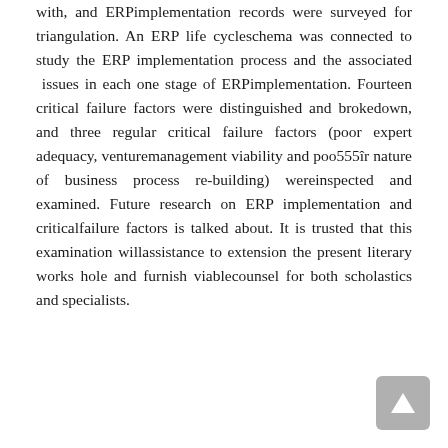with, and ERPimplementation records were surveyed for triangulation. An ERP life cycleschema was connected to study the ERP implementation process and the associated issues in each one stage of ERPimplementation. Fourteen critical failure factors were distinguished and brokedown, and three regular critical failure factors (poor expert adequacy, venturemanagement viability and poo555îr nature of business process re-building) wereinspected and examined. Future research on ERP implementation and criticalfailure factors is talked about. It is trusted that this examination willassistance to extension the present literary works hole and furnish viablecounsel for both scholastics and specialists.